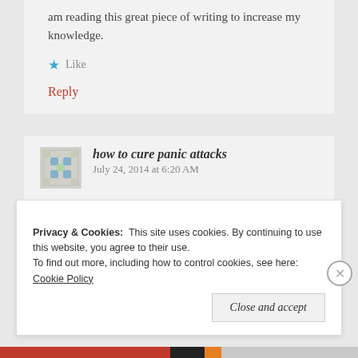am reading this great piece of writing to increase my knowledge.
Like
Reply
how to cure panic attacks   July 24, 2014 at 6:20 AM
I wanted to thank you for this fantastic read!!
I absolutely loved every little bit of it. I have you book
Privacy & Cookies: This site uses cookies. By continuing to use this website, you agree to their use.
To find out more, including how to control cookies, see here: Cookie Policy
Close and accept